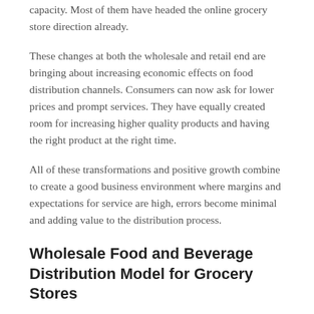capacity. Most of them have headed the online grocery store direction already.
These changes at both the wholesale and retail end are bringing about increasing economic effects on food distribution channels. Consumers can now ask for lower prices and prompt services. They have equally created room for increasing higher quality products and having the right product at the right time.
All of these transformations and positive growth combine to create a good business environment where margins and expectations for service are high, errors become minimal and adding value to the distribution process.
Wholesale Food and Beverage Distribution Model for Grocery Stores
Food products reach the tables of the final consumer after passing through a complex food supply chain that moves the products from the manufacturer to wholesale food distributors and grocery store locations from where they are taken to store